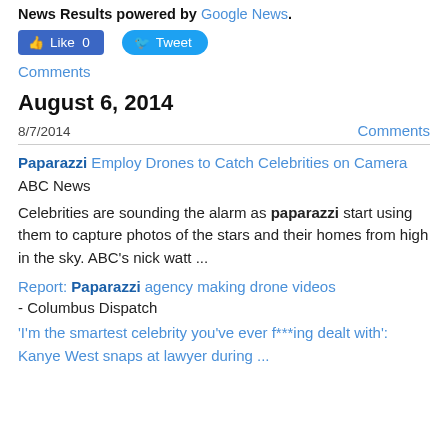News Results powered by Google News.
[Figure (other): Facebook Like button showing count 0 and Twitter Tweet button]
Comments
August 6, 2014
8/7/2014    Comments
Paparazzi Employ Drones to Catch Celebrities on Camera
ABC News
Celebrities are sounding the alarm as paparazzi start using them to capture photos of the stars and their homes from high in the sky. ABC's nick watt ...
Report: Paparazzi agency making drone videos - Columbus Dispatch
'I'm the smartest celebrity you've ever f***ing dealt with': Kanye West snaps at lawyer during ...